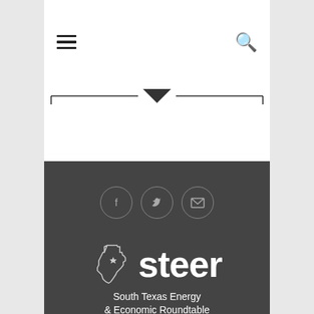[Figure (other): Navigation bar with hamburger menu icon on the left and search icon on the right]
[Figure (other): Dropdown arrow indicator below the navigation bar]
[Figure (other): Dark footer section with social media icons (Facebook, Twitter, Email), a horizontal divider, and the STEER logo with text 'South Texas Energy & Economic Roundtable']